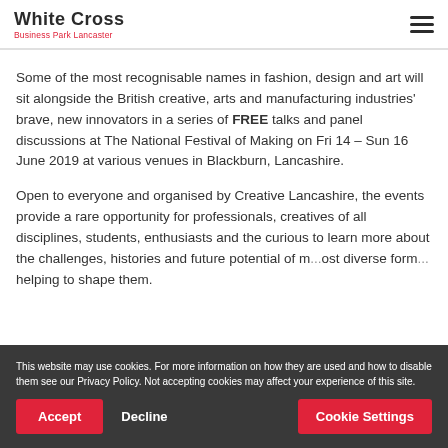White Cross Business Park Lancaster
Some of the most recognisable names in fashion, design and art will sit alongside the British creative, arts and manufacturing industries' brave, new innovators in a series of FREE talks and panel discussions at The National Festival of Making on Fri 14 – Sun 16 June 2019 at various venues in Blackburn, Lancashire.
Open to everyone and organised by Creative Lancashire, the events provide a rare opportunity for professionals, creatives of all disciplines, students, enthusiasts and the curious to learn more about the challenges, histories and future potential of m... ost diverse form... helping to shape them.
This website may use cookies. For more information on how they are used and how to disable them see our Privacy Policy. Not accepting cookies may affect your experience of this site.